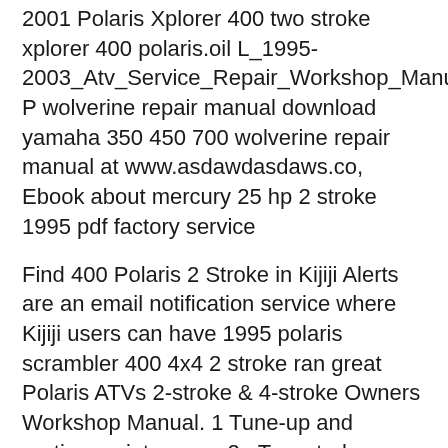2001 Polaris Xplorer 400 two stroke xplorer 400 polaris.oil L_1995-2003_Atv_Service_Repair_Workshop_Manual. P wolverine repair manual download yamaha 350 450 700 wolverine repair manual at www.asdawdasdaws.co, Ebook about mercury 25 hp 2 stroke 1995 pdf factory service
Find 400 Polaris 2 Stroke in Kijiji Alerts are an email notification service where Kijiji users can have 1995 polaris scrambler 400 4x4 2 stroke ran great Polaris ATVs 2-stroke & 4-stroke Owners Workshop Manual. 1 Tune-up and routine maintenance 2a Two-stroke engines 4 Major engine repair
Piston, Bearing & Gasket Kit Polaris 350 2-Stroke